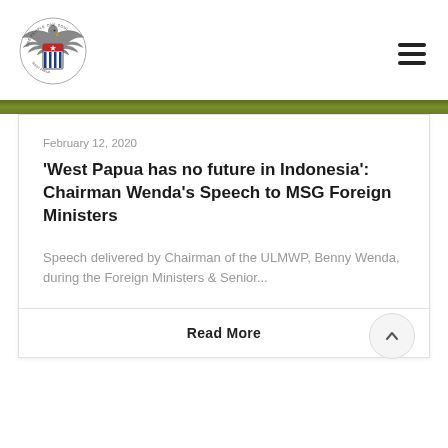[Figure (logo): West Papua / ULMWP emblem — circular badge with eagle wings, shield with blue and white vertical stripes and a red top panel with a white star, surrounded by text]
February 12, 2020
'West Papua has no future in Indonesia': Chairman Wenda's Speech to MSG Foreign Ministers
Speech delivered by Chairman of the ULMWP, Benny Wenda, during the Foreign Ministers & Senior...
Read More